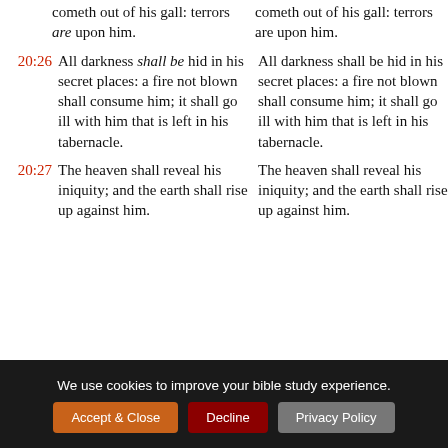cometh out of his gall: terrors are upon him.
cometh out of his gall: terrors are upon him.
20:26 All darkness shall be hid in his secret places: a fire not blown shall consume him; it shall go ill with him that is left in his tabernacle.
All darkness shall be hid in his secret places: a fire not blown shall consume him; it shall go ill with him that is left in his tabernacle.
20:27 The heaven shall reveal his iniquity; and the earth shall rise up against him.
The heaven shall reveal his iniquity; and the earth shall rise up against him.
We use cookies to improve your bible study experience.
Accept & Close
Decline
Privacy Policy